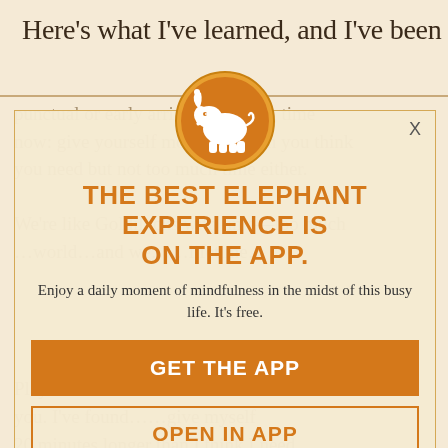Here’s what I’ve learned, and I’ve been a
punctual or early arriver for a long time now: give yourself more time than you think you need but not too much time either.

We’re like Goldilocks with time—too much… world…and we… lifetime…

Play around with this and see what works for you. I’ve found… give myself 20 minutes longer than I think I need.
[Figure (logo): Orange circle with white elephant silhouette — Elephant app logo]
THE BEST ELEPHANT EXPERIENCE IS ON THE APP.
Enjoy a daily moment of mindfulness in the midst of this busy life. It’s free.
GET THE APP
OPEN IN APP